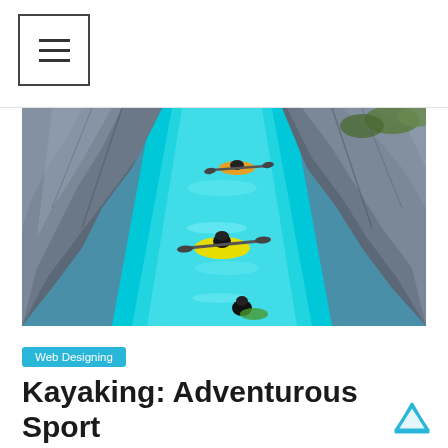≡ (menu icon)
[Figure (photo): Aerial view of kayakers navigating a narrow turquoise river gorge between steep rocky canyon walls. Two kayakers are visible in the upper portion and one in a yellow kayak is in the center. Another figure is visible at the bottom of the image near the water.]
Web Designing
Kayaking: Adventurous Sport
March 20, 2015  theadshub  0 Comments